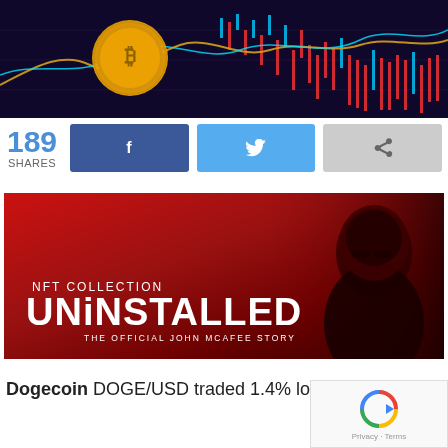[Figure (illustration): Cryptocurrency trading chart background with a golden Bitcoin coin, candlestick chart patterns in red/blue on dark background with glowing lines]
189 SHARES
[Figure (illustration): NFT Collection UNINSTALLED - The Official John McAfee Story banner with red-tinted image of a person in a hoodie and sunglasses]
Dogecoin DOGE/USD traded 1.4% lower at $0.08